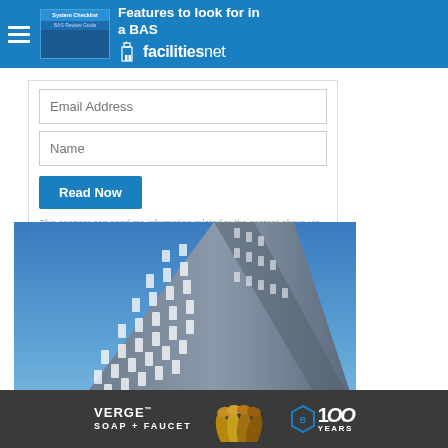Features to look for in a BAS | facilitiesnet
Email Address
Name
Read Now
This sponsor can send me information related to the content above via email.
[Figure (photo): Upward-angle view of a modern glass skyscraper facade against a blue sky, showing a grid pattern of windows and exterior cladding elements.]
[Figure (infographic): Advertisement banner for Bradley VERGE Soap + Faucet product, with decorative faucet imagery and '100 Years' Bradley anniversary logo on dark background.]